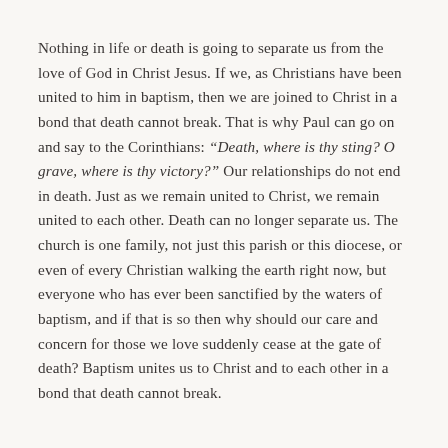Nothing in life or death is going to separate us from the love of God in Christ Jesus. If we, as Christians have been united to him in baptism, then we are joined to Christ in a bond that death cannot break. That is why Paul can go on and say to the Corinthians: “Death, where is thy sting? O grave, where is thy victory?” Our relationships do not end in death. Just as we remain united to Christ, we remain united to each other. Death can no longer separate us. The church is one family, not just this parish or this diocese, or even of every Christian walking the earth right now, but everyone who has ever been sanctified by the waters of baptism, and if that is so then why should our care and concern for those we love suddenly cease at the gate of death? Baptism unites us to Christ and to each other in a bond that death cannot break.